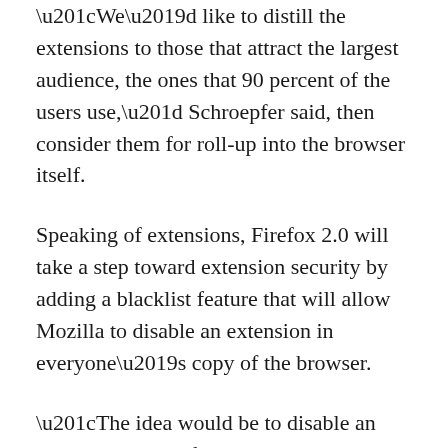“We’d like to distill the extensions to those that attract the largest audience, the ones that 90 percent of the users use,” Schroepfer said, then consider them for roll-up into the browser itself.
Speaking of extensions, Firefox 2.0 will take a step toward extension security by adding a blacklist feature that will allow Mozilla to disable an extension in everyone’s copy of the browser.
“The idea would be to disable an extension, by us, from a central location so that we can immediately remedy a problem,” Schroepfer said. “We need an easy way to disable an extension [for everyone].”